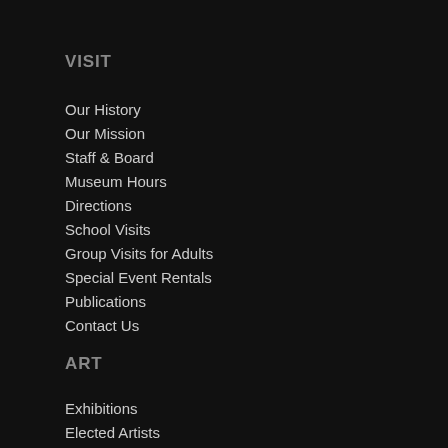VISIT
Our History
Our Mission
Staff & Board
Museum Hours
Directions
School Visits
Group Visits for Adults
Special Event Rentals
Publications
Contact Us
ART
Exhibitions
Elected Artists
Permanent Collection
Exhibition Opportunities for MMoA Artists
EVENTS
Special & Upcoming